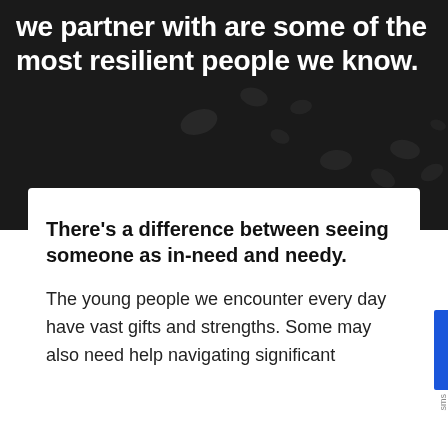[Figure (photo): Dark background with blurred organic blob shapes, white text overlaid at top]
we partner with are some of the most resilient people we know.
There's a difference between seeing someone as in-need and needy.
The young people we encounter every day have vast gifts and strengths. Some may also need help navigating significant